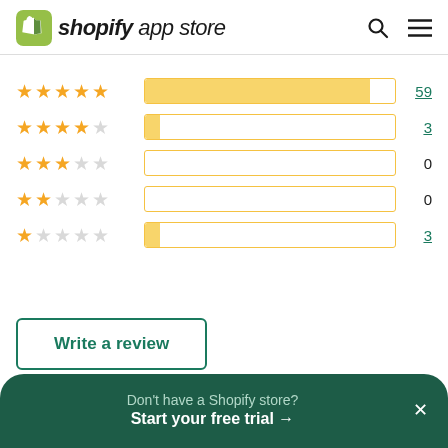[Figure (logo): Shopify App Store logo with green shopping bag icon and text 'shopify app store']
[Figure (bar-chart): Rating distribution]
Write a review
Don't have a Shopify store? Start your free trial →